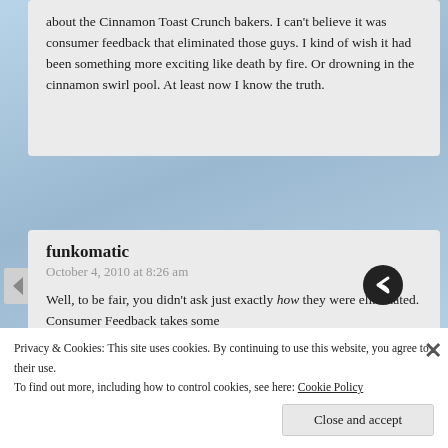about the Cinnamon Toast Crunch bakers. I can't believe it was consumer feedback that eliminated those guys. I kind of wish it had been something more exciting like death by fire. Or drowning in the cinnamon swirl pool. At least now I know the truth.
funkomatic
October 4, 2010 at 8:26 am
Well, to be fair, you didn't ask just exactly how they were eliminated. Consumer Feedback takes some
Privacy & Cookies: This site uses cookies. By continuing to use this website, you agree to their use.
To find out more, including how to control cookies, see here: Cookie Policy
Close and accept